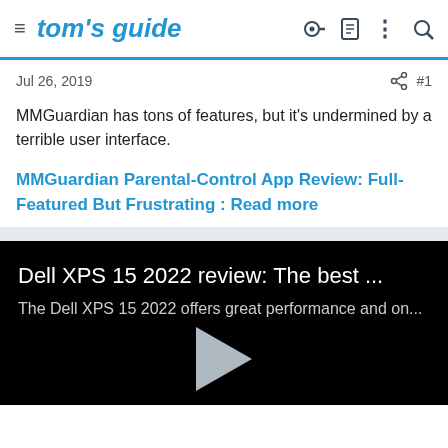tom's guide
Jul 26, 2019
MMGuardian has tons of features, but it's undermined by a terrible user interface.
MMGuardian Parental-Control App Review: Full-Featured But Frustrating : Read more
[Figure (screenshot): Video card with black background showing Dell XPS 15 2022 review with play button. Title: 'Dell XPS 15 2022 review: The best ...' Subtitle: 'The Dell XPS 15 2022 offers great performance and on...']